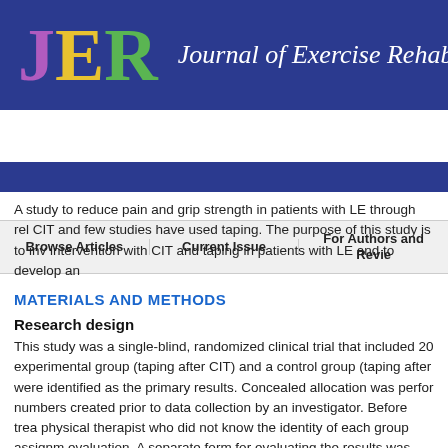JER Journal of Exercise Rehabilitation
Browse Articles | Current Issue | For Authors and Reviewers
A study to reduce pain and grip strength in patients with LE through rel... CIT and few studies have used taping. The purpose of this study is to inv... intervention with CIT and taping in patients with LE and to develop an...
MATERIALS AND METHODS
Research design
This study was a single-blind, randomized clinical trial that included 20... experimental group (taping after CIT) and a control group (taping after... were identified as the primary results. Concealed allocation was perfor... numbers created prior to data collection by an investigator. Before trea... physical therapist who did not know the identity of each group assignm... evaluation. A separate form for evaluating the results was provided to t... control groups intervention was applied by the same physical therapist...